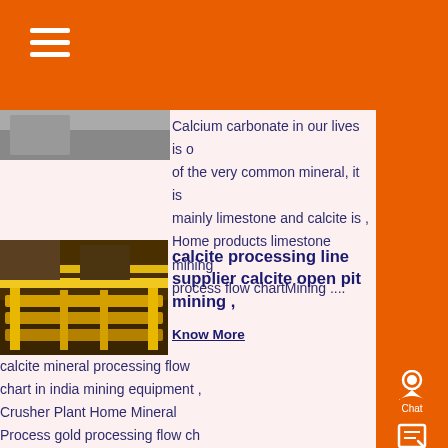[Figure (screenshot): Orange navigation top bar with hamburger menu icon (three white horizontal lines) on the left]
Calcium carbonate in our lives is of the very common mineral, it is mainly limestone and calcite is , Home products limestone mining process flow chartMining ....
[Figure (photo): Yellow industrial conveyor or processing equipment in a factory/plant setting]
calcite processing line supplier calcite open pit mining ,
Know More
calcite mineral processing flow chart in india mining equipment , Crusher Plant Home Mineral Process gold processing flow ch clinker ....